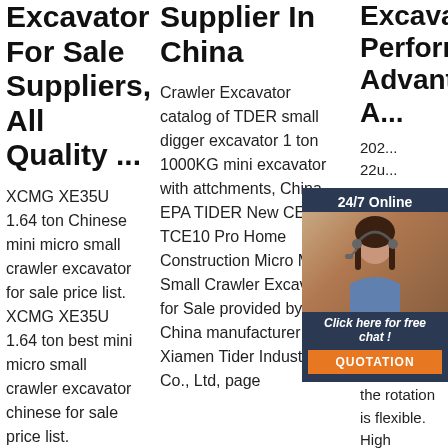Excavator For Sale Suppliers, All Quality ...
XCMG XE35U 1.64 ton Chinese mini micro small crawler excavator for sale price list. XCMG XE35U 1.64 ton best mini micro small crawler excavator chinese for sale price list. Country/Region: China. ... Hungary (1) Indonesia (1) Iran
Supplier In China
Crawler Excavator catalog of TDER small digger excavator 1 ton 1000KG mini excavator with attchments, China EPA TIDER New CE 1ton TCE10 Pro Home Construction Micro Mini Small Crawler Excavator for Sale provided by China manufacturer - Xiamen Tider Industrial Co., Ltd, page
Excavator Performance Advantages A...
202... 22u... exc... adv... The... of th... is be... wid... meters, the body is small and the rotation is flexible. High efficiency, low energy consumption,
[Figure (photo): Chat widget with woman wearing headset, dark blue background, orange QUOTATION button]